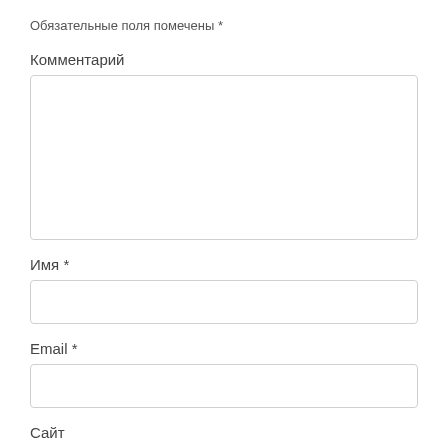Обязательные поля помечены *
Комментарий
[Figure (other): Large empty text input box for comment]
Имя *
[Figure (other): Small empty text input box for name]
Email *
[Figure (other): Small empty text input box for email]
Сайт